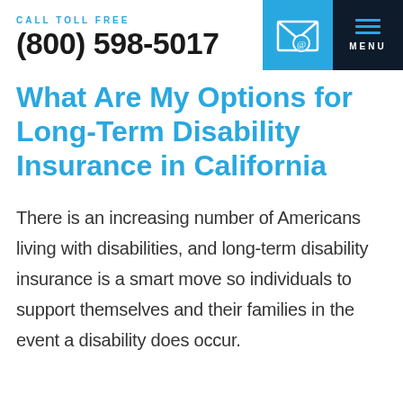CALL TOLL FREE
(800) 598-5017
What Are My Options for Long-Term Disability Insurance in California
There is an increasing number of Americans living with disabilities, and long-term disability insurance is a smart move so individuals to support themselves and their families in the event a disability does occur.